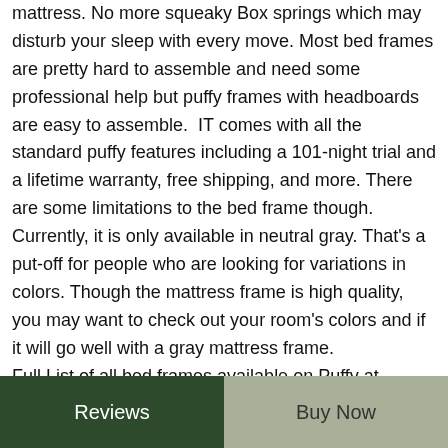mattress. No more squeaky Box springs which may disturb your sleep with every move. Most bed frames are pretty hard to assemble and need some professional help but puffy frames with headboards are easy to assemble. IT comes with all the standard puffy features including a 101-night trial and a lifetime warranty, free shipping, and more. There are some limitations to the bed frame though. Currently, it is only available in neutral gray. That's a put-off for people who are looking for variations in colors. Though the mattress frame is high quality, you may want to check out your room's colors and if it will go well with a gray mattress frame.

Full List of all bed frames available on Puffy at
Reviews | Buy Now